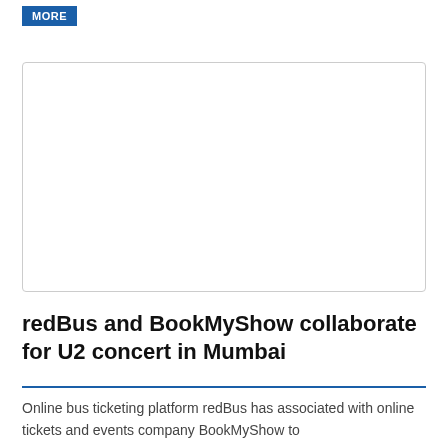MORE
[Figure (other): Advertisement placeholder box with border]
redBus and BookMyShow collaborate for U2 concert in Mumbai
Online bus ticketing platform redBus has associated with online tickets and events company BookMyShow to